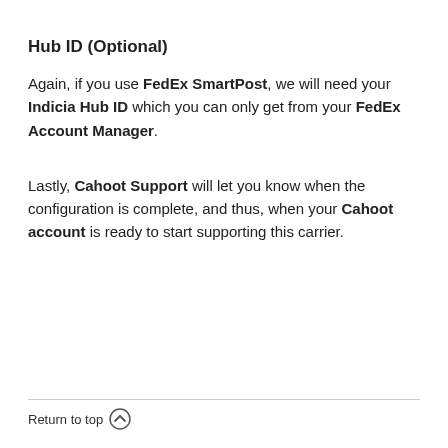Hub ID (Optional)
Again, if you use FedEx SmartPost, we will need your Indicia Hub ID which you can only get from your FedEx Account Manager.
Lastly, Cahoot Support will let you know when the configuration is complete, and thus, when your Cahoot account is ready to start supporting this carrier.
Return to top